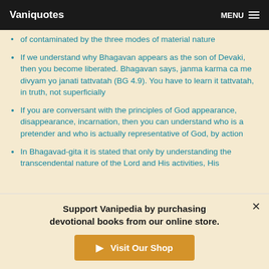Vaniquotes | MENU
of contaminated by the three modes of material nature
If we understand why Bhagavan appears as the son of Devaki, then you become liberated. Bhagavan says, janma karma ca me divyam yo janati tattvatah (BG 4.9). You have to learn it tattvatah, in truth, not superficially
If you are conversant with the principles of God appearance, disappearance, incarnation, then you can understand who is a pretender and who is actually representative of God, by action
In Bhagavad-gita it is stated that only by understanding the transcendental nature of the Lord and His activities, His
Support Vanipedia by purchasing devotional books from our online store.
Visit Our Shop